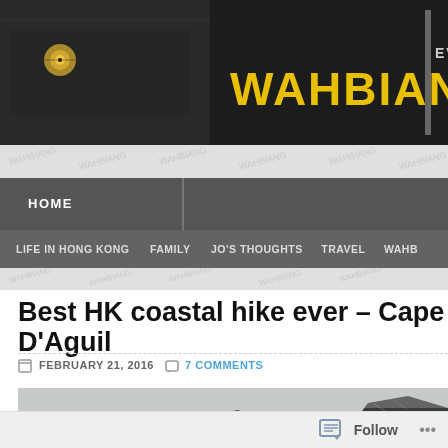[Figure (photo): Website header banner showing WAHBIANG logo in yellow bold text on a dark background with a black bag/zipper photo. Partial text 'EVE' visible on right.]
HOME | LIFE IN HONG KONG | FAMILY | JO'S THOUGHTS | TRAVEL | WAHB...
Best HK coastal hike ever – Cape D'Aguil...
FEBRUARY 21, 2016  7 COMMENTS
[Figure (photo): Coastal rocky mountain scenery with misty grey sky. Dark rocky peaks visible against overcast background.]
Follow ...